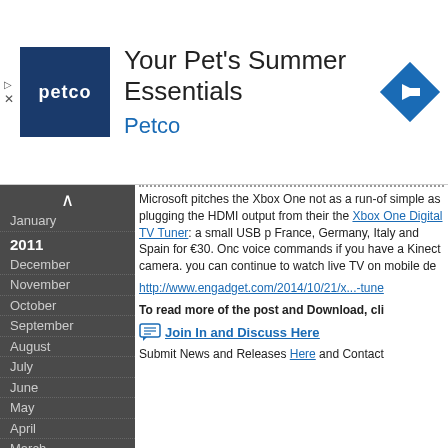[Figure (infographic): Petco advertisement banner with logo, title 'Your Pet's Summer Essentials', brand name 'Petco', and a blue diamond arrow icon]
January
2011
December
November
October
September
August
July
June
May
April
March
February
January
2010
December
November
October
September
August
July
June
May
April
Microsoft pitches the Xbox One not as a run-of simple as plugging the HDMI output from their the Xbox One Digital TV Tuner: a small USB p France, Germany, Italy and Spain for €30. Onc voice commands if you have a Kinect camera. you can continue to watch live TV on mobile de
http://www.engadget.com/2014/10/21/x...-tune
To read more of the post and Download, cli
Join In and Discuss Here
Submit News and Releases Here and Contact